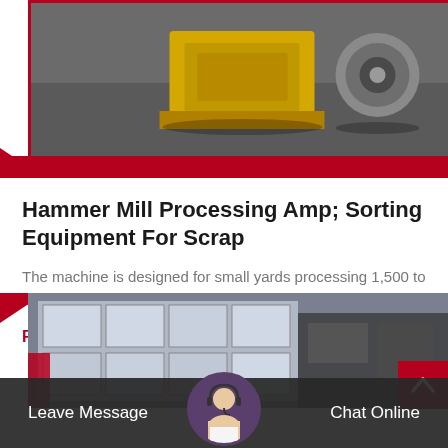[Figure (photo): Industrial machinery equipment - yellow/gold colored machine and round component on concrete floor]
Hammer Mill Processing Amp; Sorting Equipment For Scrap
The machine is designed for small yards processing 1,500 to 3,000 tons per month.3tek…
Read More
[Figure (photo): Industrial building exterior with large windows and equipment visible]
Leave Message
Chat Online